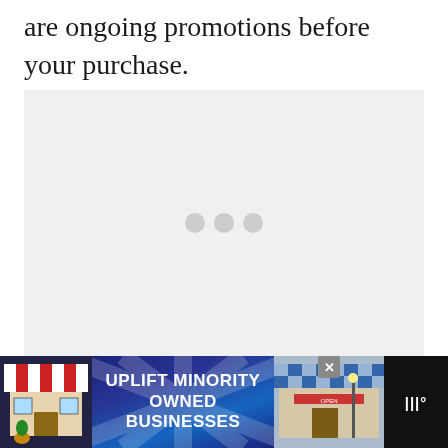are ongoing promotions before your purchase.
[Figure (other): A light gray loading/placeholder content area with three small gray dots centered in the middle, indicating loading state.]
[Figure (illustration): Advertisement banner at the bottom of the page. Dark navy/black background. Left side shows a colorful storefront illustration with red and white striped awning and a plant. Center text reads 'UPLIFT MINORITY OWNED BUSINESSES' in bold white text on a blue starburst/rays background. Right side shows another storefront illustration with checkered pattern. Far right shows the Weave logo (three white bars with degree symbol). A gray close/X button is visible.]